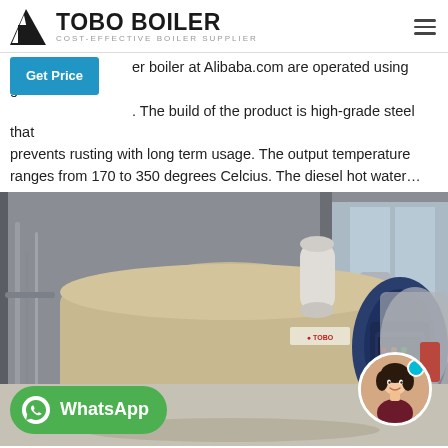TOBO BOILER — COST-EFFECTIVE BOILER SUPPLIER
er boiler at Alibaba.com are operated using gas/ coal. The build of the product is high-grade steel that prevents rusting with long term usage. The output temperature ranges from 170 to 350 degrees Celcius. The diesel hot water…
[Figure (photo): Industrial steam boiler in a factory setting, large cylindrical tan/beige boiler body with blue front burner assembly, WhatsApp button overlay at bottom left, avatar photo at bottom right]
Steam Boiler for sale at C3 Surplus LLC